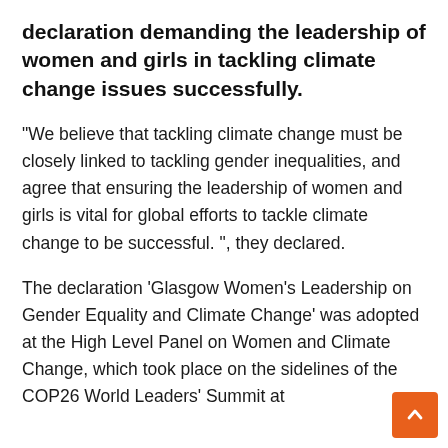declaration demanding the leadership of women and girls in tackling climate change issues successfully.
“We believe that tackling climate change must be closely linked to tackling gender inequalities, and agree that ensuring the leadership of women and girls is vital for global efforts to tackle climate change to be successful. ”, they declared.
The declaration ‘Glasgow Women’s Leadership on Gender Equality and Climate Change’ was adopted at the High Level Panel on Women and Climate Change, which took place on the sidelines of the COP26 World Leaders’ Summit at the Scottish Pavilion in Glasgow.